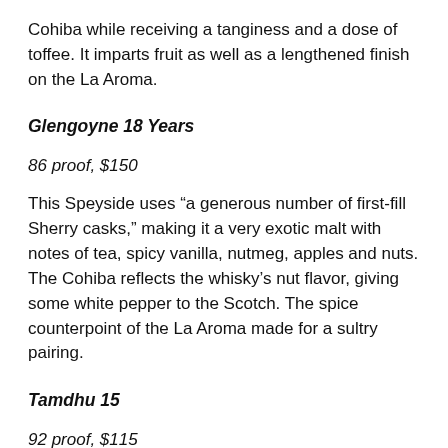Cohiba while receiving a tanginess and a dose of toffee. It imparts fruit as well as a lengthened finish on the La Aroma.
Glengoyne 18 Years
86 proof, $150
This Speyside uses “a generous number of first-fill Sherry casks,” making it a very exotic malt with notes of tea, spicy vanilla, nutmeg, apples and nuts. The Cohiba reflects the whisky’s nut flavor, giving some white pepper to the Scotch. The spice counterpoint of the La Aroma made for a sultry pairing.
Tamdhu 15
92 proof, $115